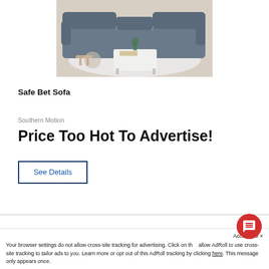[Figure (photo): Gray leather reclining sofa set in a living room setting with white coffee table and area rug]
Safe Bet Sofa
Southern Motion
Price Too Hot To Advertise!
See Details
Acce se ×
Your browser settings do not allow cross-site tracking for advertising. Click on th allow AdRoll to use cross-site tracking to tailor ads to you. Learn more or opt out of this AdRoll tracking by clicking here. This message only appears once.